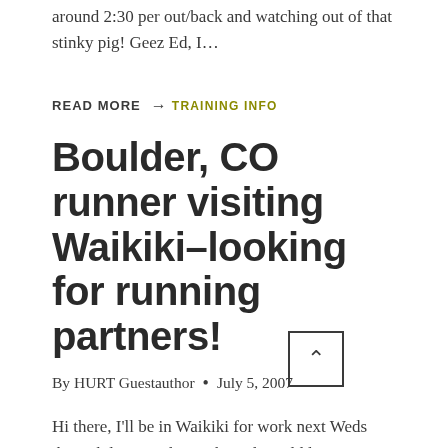around 2:30 per out/back and watching out of that stinky pig!  Geez Ed, I…
READ MORE →
TRAINING INFO
Boulder, CO runner visiting Waikiki–looking for running partners!
By HURT Guestauthor • July 5, 2007
Hi there, I'll be in Waikiki for work next Weds through late Sunday night and would love to meet up with people for a run.  Please email me at…